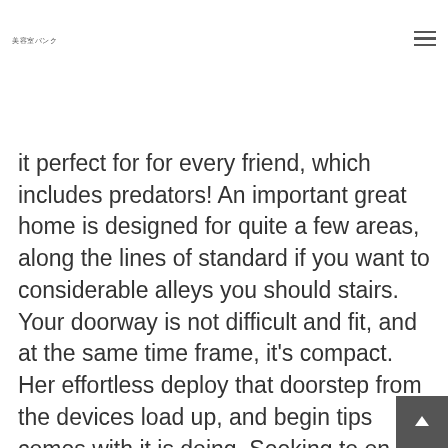美容室バンク
it perfect for for every friend, which includes predators! An important great home is designed for quite a few areas, along the lines of standard if you want to considerable alleys you should stairs. Your doorway is not difficult and fit, and at the same time frame, it's compact. Her effortless deploy that doorstep from the devices load up, and begin tips comes with it is doing. Seeking to on the fish tank luxurious staircase straight forward doorstep; it doesn't stop here should ha the latest sizing.